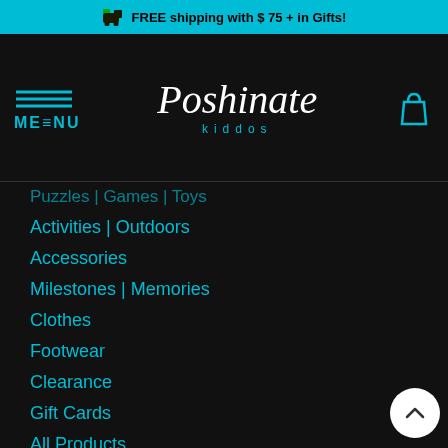FREE shipping with $ 75 + in Gifts!
[Figure (logo): Poshinate Kiddos logo with script font and 'kiddos' in teal]
Puzzles | Games | Toys
Activities | Outdoors
Accessories
Milestones | Memories
Clothes
Footwear
Clearance
Gift Cards
All Products
© Poshinate Kiddos
[Figure (other): Payment method logos: American Express, Discover, Google Pay, Mastercard, PayPal, Visa]